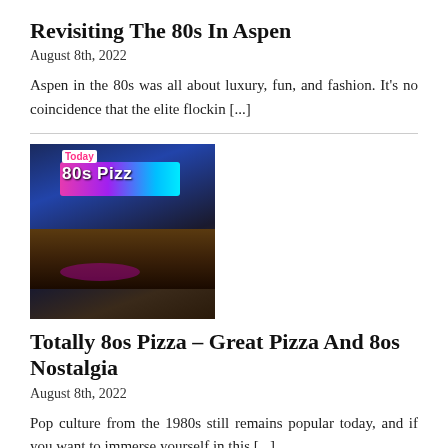Revisiting The 80s In Aspen
August 8th, 2022
Aspen in the 80s was all about luxury, fun, and fashion. It's no coincidence that the elite flockin [...]
[Figure (photo): Exterior of Totally 80s Pizza restaurant with neon sign at night]
Totally 8os Pizza – Great Pizza And 8os Nostalgia
August 8th, 2022
Pop culture from the 1980s still remains popular today, and if you want to immerse yourself in this [...]
[Figure (photo): Three women with 80s hairstyles and makeup]